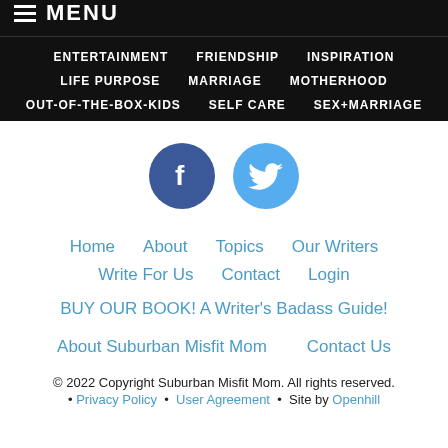≡ MENU
ENTERTAINMENT  FRIENDSHIP  INSPIRATION  LIFE PURPOSE  MARRIAGE  MOTHERHOOD  OUT-OF-THE-BOX-KIDS  SELF CARE  SEX+MARRIAGE
[Figure (logo): Facebook and Twitter social media circular icon buttons]
Home  About  Topics  Our Writers  Write For Us  Contact  Login
BUY OUR BOOK! A Writer's Badass Guide!
About Suburban Misfit Mom    Contact Us
© 2022 Copyright Suburban Misfit Mom. All rights reserved. • Privacy Policy • User Agreement • Site by Openhill